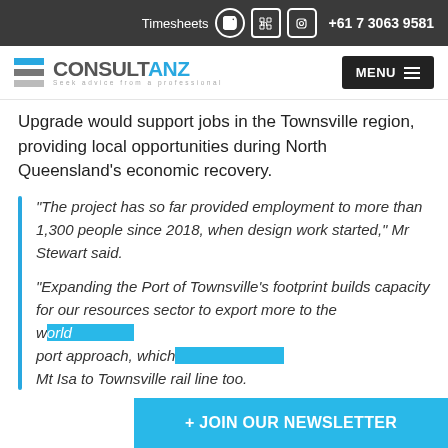Timesheets  +61 7 3063 9581
[Figure (logo): ConsultANZ logo with blue and grey horizontal stripes, tagline: Seek advice from a professional]
Upgrade would support jobs in the Townsville region, providing local opportunities during North Queensland's economic recovery.
“The project has so far provided employment to more than 1,300 people since 2018, when design work started,” Mr Stewart said.
“Expanding the Port of Townsville’s footprint builds capacity for our resources sector to export more to the w... port approach, which... Mt Isa to Townsville rail line too.